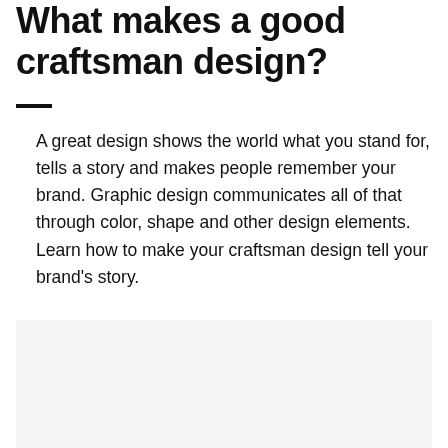What makes a good craftsman design?
A great design shows the world what you stand for, tells a story and makes people remember your brand. Graphic design communicates all of that through color, shape and other design elements. Learn how to make your craftsman design tell your brand's story.
[Figure (other): A light gray rectangular placeholder image area at the bottom of the page]